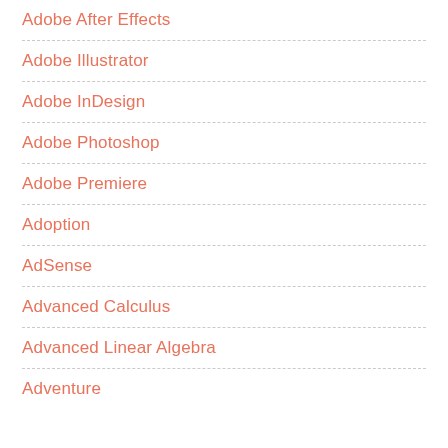Adobe After Effects
Adobe Illustrator
Adobe InDesign
Adobe Photoshop
Adobe Premiere
Adoption
AdSense
Advanced Calculus
Advanced Linear Algebra
Adventure